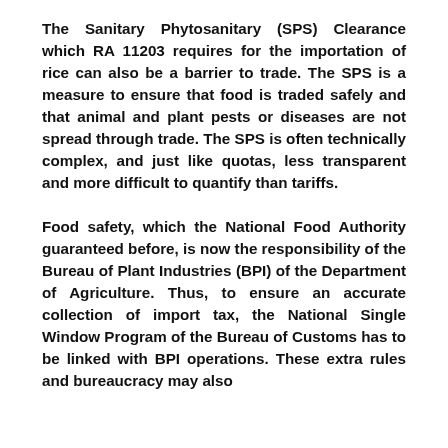The Sanitary Phytosanitary (SPS) Clearance which RA 11203 requires for the importation of rice can also be a barrier to trade. The SPS is a measure to ensure that food is traded safely and that animal and plant pests or diseases are not spread through trade. The SPS is often technically complex, and just like quotas, less transparent and more difficult to quantify than tariffs.
Food safety, which the National Food Authority guaranteed before, is now the responsibility of the Bureau of Plant Industries (BPI) of the Department of Agriculture. Thus, to ensure an accurate collection of import tax, the National Single Window Program of the Bureau of Customs has to be linked with BPI operations. These extra rules and bureaucracy may also